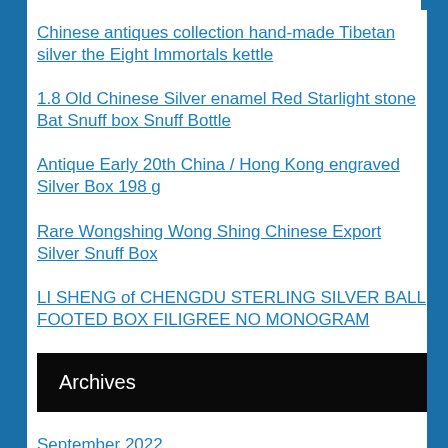Chinese antiques collection hand-made Tibetan silver the Eight Immortals kettle
1.8 Old Chinese Silver enamel Red Starlight stone Bat Snuff box Snuff Bottle
Antique Early 20th China / Hong Kong engraved Silver Box 198 g
Rare Wongshing Wong Shing Chinese Export Silver Snuff Box
LI SHENG of CHENGDU STERLING SILVER BALL FOOTED BOX FILIGREE NO MONOGRAM
Archives
September 2022
August 2022